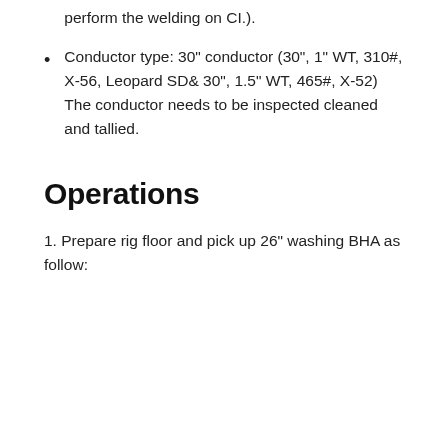perform the welding on CI.
Conductor type: 30" conductor (30", 1" WT, 310#, X-56, Leopard SD& 30", 1.5" WT, 465#, X-52) The conductor needs to be inspected cleaned and tallied.
Operations
1. Prepare rig floor and pick up 26" washing BHA as follow: